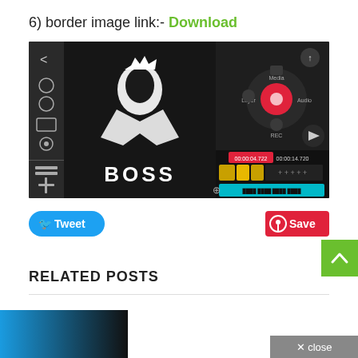6) border image link:- Download
[Figure (screenshot): Screenshot of a video editing app (KineMaster) showing a BOSS logo with a lion design being edited, with timeline and media controls visible]
[Figure (other): Tweet button (blue, rounded) and Save button (red, Pinterest icon)]
RELATED POSTS
[Figure (other): Close bar at bottom right corner]
[Figure (other): Scroll-to-top green button with upward arrow]